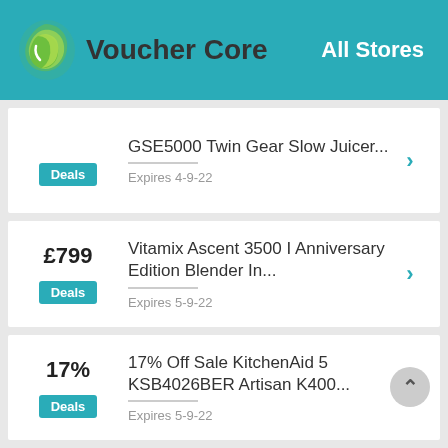Voucher Core — All Stores
Deals — GSE5000 Twin Gear Slow Juicer... — Expires 4-9-22
£799 — Deals — Vitamix Ascent 3500 I Anniversary Edition Blender In... — Expires 5-9-22
17% — Deals — 17% Off Sale KitchenAid 5 KSB4026BER Artisan K400... — Expires 5-9-22